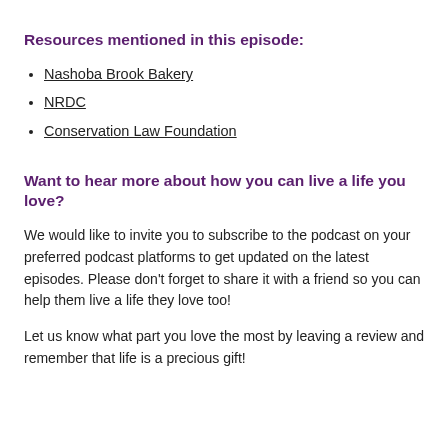Resources mentioned in this episode:
Nashoba Brook Bakery
NRDC
Conservation Law Foundation
Want to hear more about how you can live a life you love?
We would like to invite you to subscribe to the podcast on your preferred podcast platforms to get updated on the latest episodes. Please don't forget to share it with a friend so you can help them live a life they love too!
Let us know what part you love the most by leaving a review and remember that life is a precious gift!